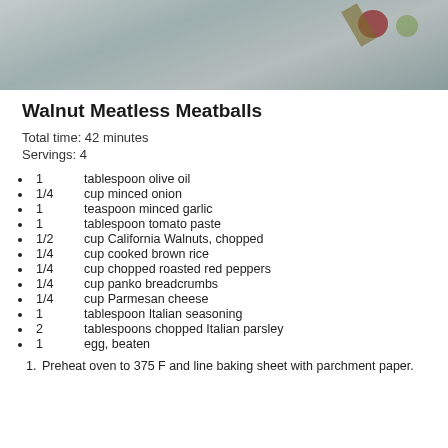[Figure (photo): Food photo showing meatballs on a gray surface with garnishes]
Walnut Meatless Meatballs
Total time: 42 minutes
Servings: 4
1		tablespoon olive oil
1/4		cup minced onion
1		teaspoon minced garlic
1		tablespoon tomato paste
1/2		cup California Walnuts, chopped
1/4		cup cooked brown rice
1/4		cup chopped roasted red peppers
1/4		cup panko breadcrumbs
1/4		cup Parmesan cheese
1		tablespoon Italian seasoning
2		tablespoons chopped Italian parsley
1		egg, beaten
Preheat oven to 375 F and line baking sheet with parchment paper.